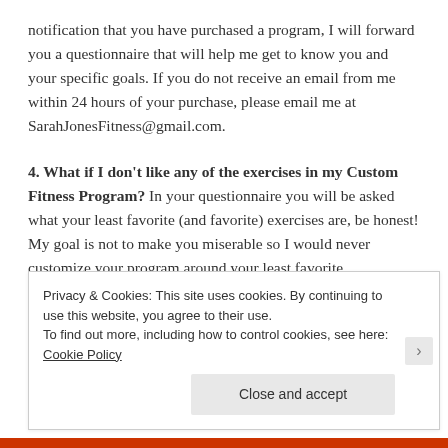notification that you have purchased a program, I will forward you a questionnaire that will help me get to know you and your specific goals. If you do not receive an email from me within 24 hours of your purchase, please email me at SarahJonesFitness@gmail.com.
4. What if I don't like any of the exercises in my Custom Fitness Program? In your questionnaire you will be asked what your least favorite (and favorite) exercises are, be honest! My goal is not to make you miserable so I would never customize your program around your least favorite exercises. However, if you want "All fours of favorites"
Privacy & Cookies: This site uses cookies. By continuing to use this website, you agree to their use.
To find out more, including how to control cookies, see here: Cookie Policy
Close and accept